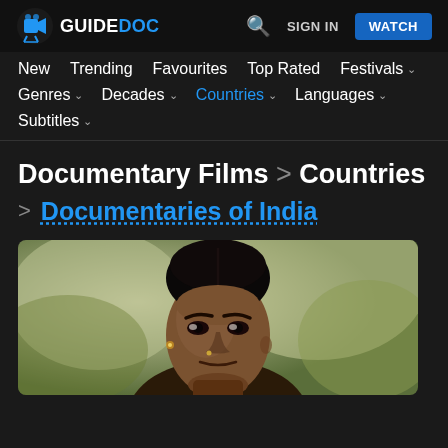GUIDEDOC — Q  SIGN IN  WATCH
New  Trending  Favourites  Top Rated  Festivals
Genres  Decades  Countries  Languages
Subtitles
Documentary Films > Countries > Documentaries of India
[Figure (photo): Close-up photo of an Indian woman's face against a blurred outdoor background]